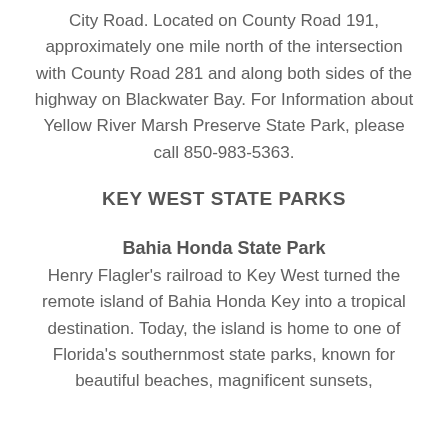City Road. Located on County Road 191, approximately one mile north of the intersection with County Road 281 and along both sides of the highway on Blackwater Bay. For Information about Yellow River Marsh Preserve State Park, please call 850-983-5363.
KEY WEST STATE PARKS
Bahia Honda State Park
Henry Flagler's railroad to Key West turned the remote island of Bahia Honda Key into a tropical destination. Today, the island is home to one of Florida's southernmost state parks, known for beautiful beaches, magnificent sunsets,